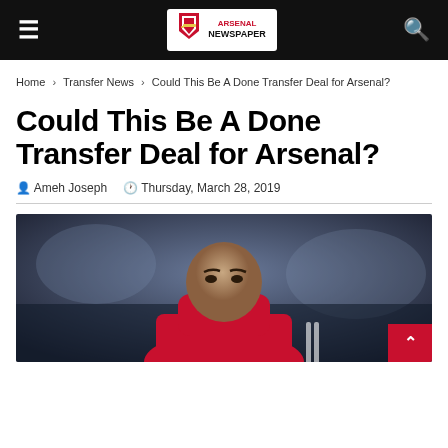Arsenal Newspaper — navigation bar with hamburger menu, logo, and search icon
Home › Transfer News › Could This Be A Done Transfer Deal for Arsenal?
Could This Be A Done Transfer Deal for Arsenal?
Ameh Joseph   Thursday, March 28, 2019
[Figure (photo): A footballer in a red kit (Manchester United style jersey) covering his face with the collar of his shirt; dark stadium background]